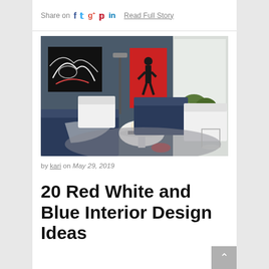Share on  f  t  g+  p  in   Read Full Story
[Figure (photo): Interior design photo of a modern living room with navy blue sofas, a white round coffee table with flowers, a bold red artwork with a figure silhouette on the wall, black-and-white abstract painting on the left wall, floor lamps, and a garden view through large windows on the right.]
by kari on May 29, 2019
20 Red White and Blue Interior Design Ideas